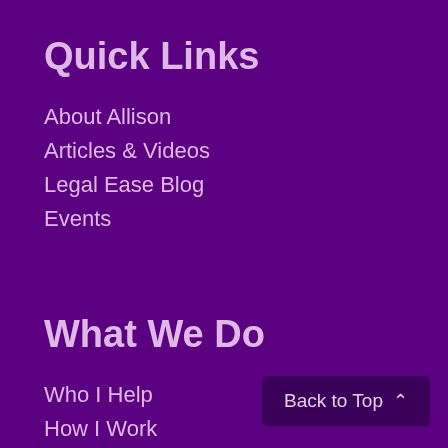Quick Links
About Allison
Articles & Videos
Legal Ease Blog
Events
What We Do
Who I Help
How I Work
Products and Services
Coaching and Consulting
Speaking
Books
Back to Top ∧